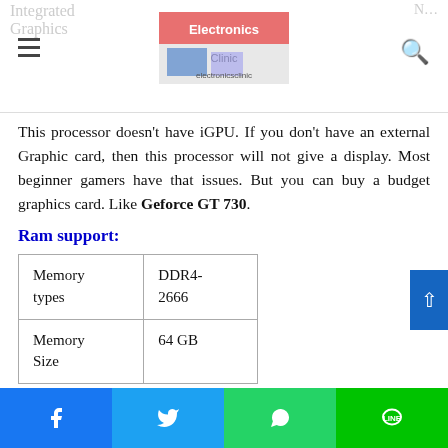Electronics Clinic
This processor doesn't have iGPU. If you don't have an external Graphic card, then this processor will not give a display. Most beginner gamers have that issues. But you can buy a budget graphics card. Like Geforce GT 730.
Ram support:
| Memory types | DDR4-2666 |
| Memory Size | 64 GB |
Facebook | Twitter | WhatsApp | Line